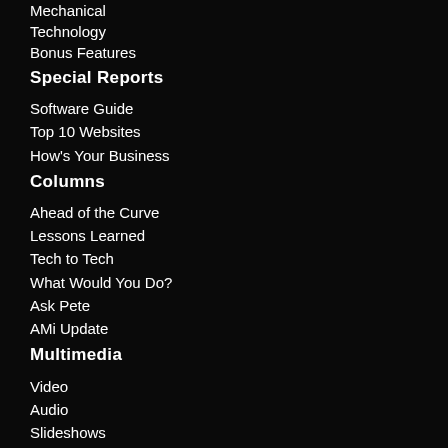Mechanical
Technology
Bonus Features
Special Reports
Software Guide
Top 10 Websites
How's Your Business
Columns
Ahead of the Curve
Lessons Learned
Tech to Tech
What Would You Do?
Ask Pete
AMi Update
Multimedia
Video
Audio
Slideshows
Follow AutoInc.
Facebook
Twitter
Instagram
LinkedIn
Pinterest
YouTube